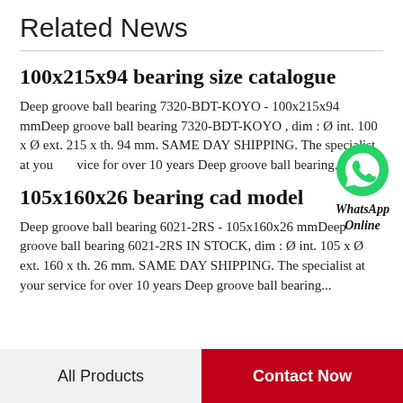Related News
100x215x94 bearing size catalogue
Deep groove ball bearing 7320-BDT-KOYO - 100x215x94 mmDeep groove ball bearing 7320-BDT-KOYO , dim : Ø int. 100 x Ø ext. 215 x th. 94 mm. SAME DAY SHIPPING. The specialist at your service for over 10 years Deep groove ball bearing...
[Figure (logo): WhatsApp icon with text 'WhatsApp Online']
105x160x26 bearing cad model
Deep groove ball bearing 6021-2RS - 105x160x26 mmDeep groove ball bearing 6021-2RS IN STOCK, dim : Ø int. 105 x Ø ext. 160 x th. 26 mm. SAME DAY SHIPPING. The specialist at your service for over 10 years Deep groove ball bearing...
All Products | Contact Now